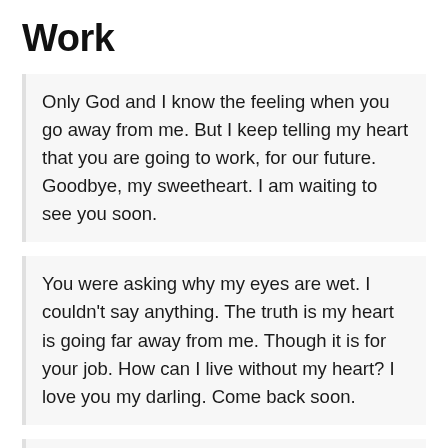Work
Only God and I know the feeling when you go away from me. But I keep telling my heart that you are going to work, for our future. Goodbye, my sweetheart. I am waiting to see you soon.
You were asking why my eyes are wet. I couldn’t say anything. The truth is my heart is going far away from me. Though it is for your job. How can I live without my heart? I love you my darling. Come back soon.
Today you are going abroad. I am strong outside. Because a soldier’s wife has some responsibilities too. But inside I am burning